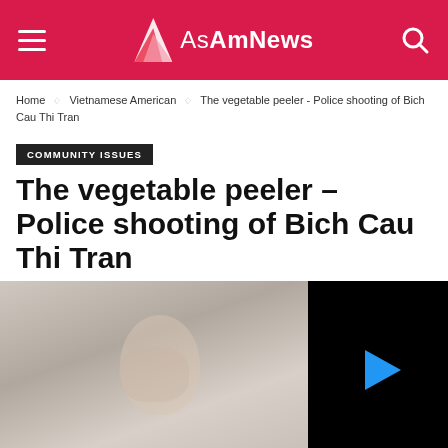AsAmNews
Home ◇ Vietnamese American ◇ The vegetable peeler - Police shooting of Bich Cau Thi Tran
COMMUNITY ISSUES
The vegetable peeler – Police shooting of Bich Cau Thi Tran
[Figure (photo): Portrait photo of a woman partially visible on left side, with a black video player overlay on the right showing a blue play button triangle]